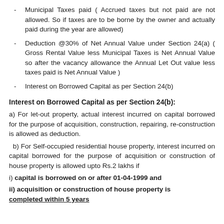Municipal Taxes paid ( Accrued taxes but not paid are not allowed. So if taxes are to be borne by the owner and actually paid during the year are allowed)
Deduction @30% of Net Annual Value under Section 24(a) ( Gross Rental Value less Municipal Taxes is Net Annual Value so after the vacancy allowance the Annual Let Out value less taxes paid is Net Annual Value )
Interest on Borrowed Capital as per Section 24(b)
Interest on Borrowed Capital as per Section 24(b):
a) For let-out property, actual interest incurred on capital borrowed for the purpose of acquisition, construction, repairing, re-construction is allowed as deduction.
b) For Self-occupied residential house property, interest incurred on capital borrowed for the purpose of acquisition or construction of house property is allowed upto Rs.2 lakhs if
i) capital is borrowed on or after 01-04-1999 and
ii) acquisition or construction of house property is completed within 5 years